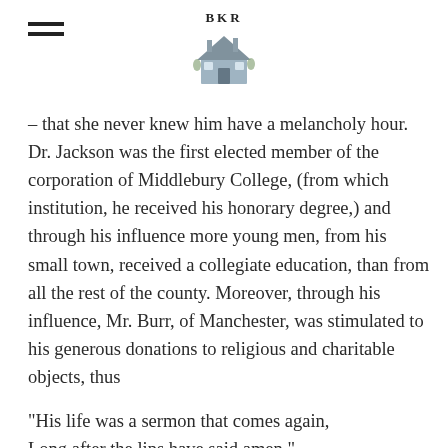BKR
– that she never knew him have a melancholy hour. Dr. Jackson was the first elected member of the corporation of Middlebury College, (from which institution, he received his honorary degree,) and through his influence more young men, from his small town, received a collegiate education, than from all the rest of the county. Moreover, through his influence, Mr. Burr, of Manchester, was stimulated to his generous donations to religious and charitable objects, thus
"His life was a sermon that comes again,
Long after the lips have said amen."
SUSANNA CRAM, (Mrs. Jackson,) was born in Brentford, N. H., in 1771. Her paternal grandmother was Elisabeth Rogers, a lineal descendant of the